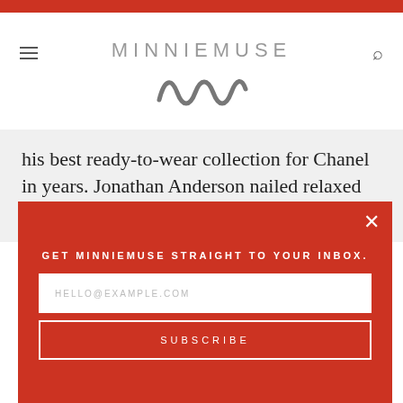MINNIEMUSE
his best ready-to-wear collection for Chanel in years. Jonathan Anderson nailed relaxed spring
GET MINNIEMUSE STRAIGHT TO YOUR INBOX.
HELLO@EXAMPLE.COM
SUBSCRIBE